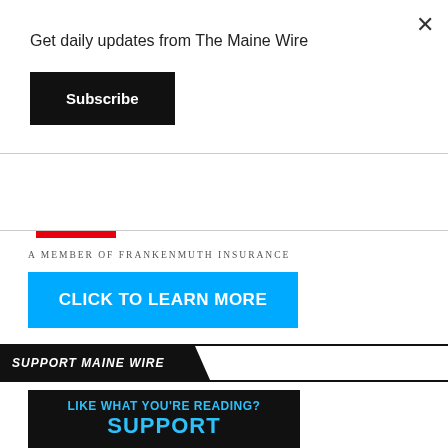Get daily updates from The Maine Wire
Subscribe
[Figure (logo): Insurance Company logo with red graphic and dark blue serif text reading INSURANCE COMPANY with registered trademark symbol]
A Member of Frankenmuth Insurance
CLICK TO LEARN MORE
SUPPORT MAINE WIRE
LIKE WHAT YOU'RE READING?
SUPPORT